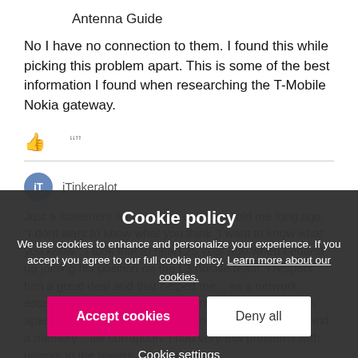Antenna Guide
No I have no connection to them. I found this while picking this problem apart. This is some of the best information I found when researching the T-Mobile Nokia gateway.
jTinkeralot
Just a statement an excellent engineer told me long ago. "I dont want to know what you think. I want to know what you know." I took that to heart 25 year ago when I ended up joining his position on the L3 hostile team. I respect him a great deal and that helped me ... as a network escalation engineer ... been working hard at picking this apart. You might be onto something with the software and a memory ... file corruption. I had very few problems with uplinks to the towers between early
Cookie policy
We use cookies to enhance and personalize your experience. If you accept you agree to our full cookie policy. Learn more about our cookies.
Accept cookies
Deny all
Cookie settings